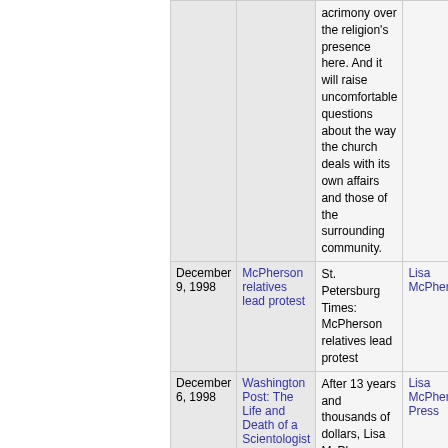| Date | Title | Blurb | Tags |
| --- | --- | --- | --- |
|  |  | acrimony over the religion's presence here. And it will raise uncomfortable questions about the way the church deals with its own affairs and those of the surrounding community. |  |
| December 9, 1998 | McPherson relatives lead protest | St. Petersburg Times: McPherson relatives lead protest | Lisa McPherson |
| December 6, 1998 | Washington Post: The Life and Death of a Scientologist | After 13 years and thousands of dollars, Lisa McPherson finally went 'clear.' Then she went insane. | Lisa McPherson, Press |
« first ‹ previous 1 2 3 4 5 6 7 next › last »
Lisa McPherson in the News
| Date | Title | Blurb | Tags |
| --- | --- | --- | --- |
|  |  | Three weeks after her death, two transactions are made with Lisa |  |